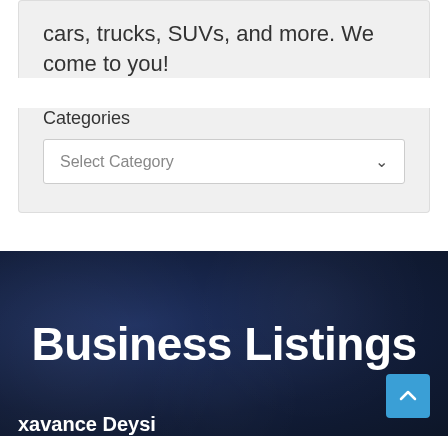cars, trucks, SUVs, and more. We come to you!
Categories
Select Category
Business Listings
xavance Deysi